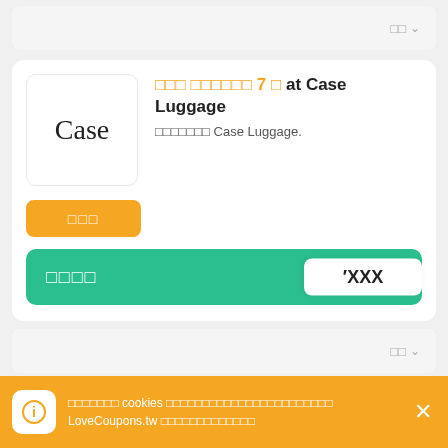[Figure (screenshot): Top collapsed card with Japanese/Chinese characters and chevron dropdown]
○○○ ○○○○○○ 7 折 at Case Luggage
○○○○○○○ Case Luggage.
[Figure (screenshot): Orange button with Chinese characters 獲取優惠]
[Figure (screenshot): Green coupon bar with Chinese characters and revealed code XXX]
[Figure (screenshot): Second collapsed card with Japanese/Chinese characters and chevron dropdown]
○○○ ○○○○ 8 折 at Case Luggage
我們使用 cookies 幫助我們的網站更有效地運作。繼續使用 LoveCoupons.tw 即表示您同意我們的Cookie政策。